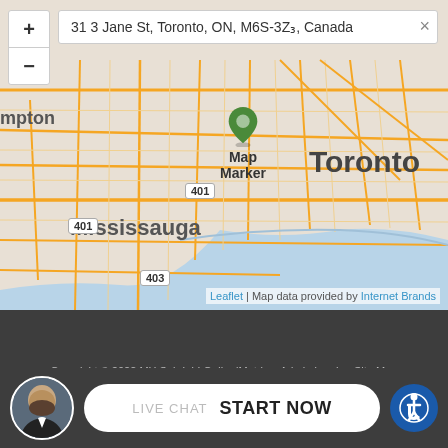[Figure (map): Interactive Leaflet map showing Toronto area with a map marker at 313 Jane St, Toronto, ON, M6S-3Z3, Canada. Shows Mississauga to the left, Toronto to the right, with highway 401 and 403 markers visible.]
313 Jane St, Toronto, ON, M6S-3Z3, Canada
Map Marker
Leaflet | Map data provided by Internet Brands
Copyright © 2022 MH Sub I, LLC dba iMatrix   Admin Log In   Site Map   Privacy Policy
LIVE CHAT   START NOW